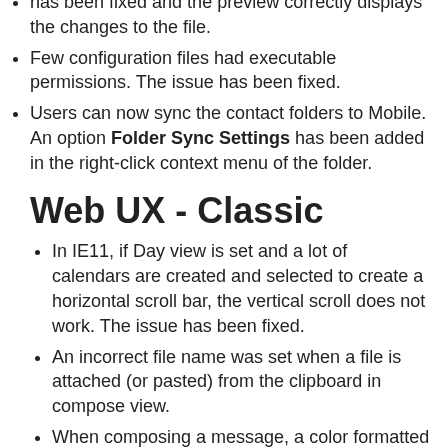…changes are not displayed in the preview. The issue has been fixed and the preview correctly displays the changes to the file.
Few configuration files had executable permissions. The issue has been fixed.
Users can now sync the contact folders to Mobile. An option Folder Sync Settings has been added in the right-click context menu of the folder.
Web UX - Classic
In IE11, if Day view is set and a lot of calendars are created and selected to create a horizontal scroll bar, the vertical scroll does not work. The issue has been fixed.
An incorrect file name was set when a file is attached (or pasted) from the clipboard in compose view.
When composing a message, a color formatted table from excel is pasted, the formatting was not retained. The issue has been fixed and correct formatting is…